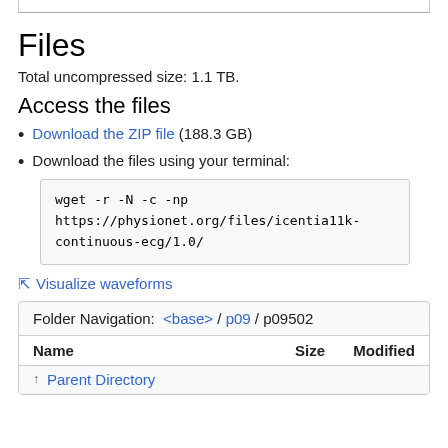Files
Total uncompressed size: 1.1 TB.
Access the files
Download the ZIP file (188.3 GB)
Download the files using your terminal:
wget -r -N -c -np
https://physionet.org/files/icentia11k-continuous-ecg/1.0/
Visualize waveforms
| Name | Size | Modified |
| --- | --- | --- |
| Parent Directory |  |  |